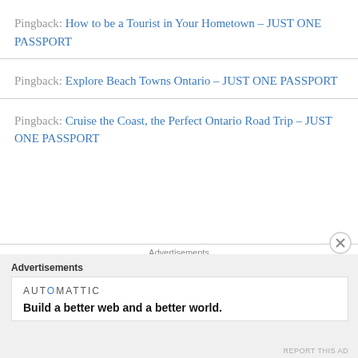Pingback: How to be a Tourist in Your Hometown – JUST ONE PASSPORT
Pingback: Explore Beach Towns Ontario – JUST ONE PASSPORT
Pingback: Cruise the Coast, the Perfect Ontario Road Trip – JUST ONE PASSPORT
Advertisements
[Figure (other): Empty advertisement placeholder box with light gray background]
Advertisements
AUTOMATTIC
Build a better web and a better world.